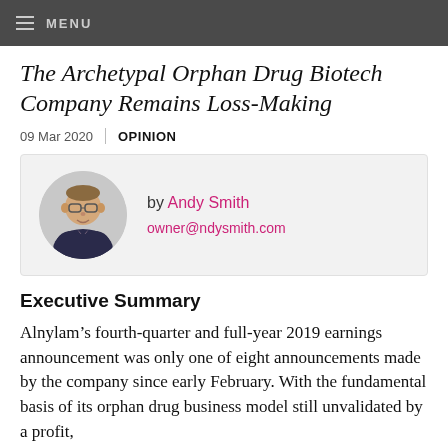MENU
The Archetypal Orphan Drug Biotech Company Remains Loss-Making
09 Mar 2020  |  OPINION
[Figure (photo): Circular headshot photo of Andy Smith, a man wearing glasses and a suit with a pink shirt]
by Andy Smith
owner@ndysmith.com
Executive Summary
Alnylam’s fourth-quarter and full-year 2019 earnings announcement was only one of eight announcements made by the company since early February. With the fundamental basis of its orphan drug business model still unvalidated by a profit,